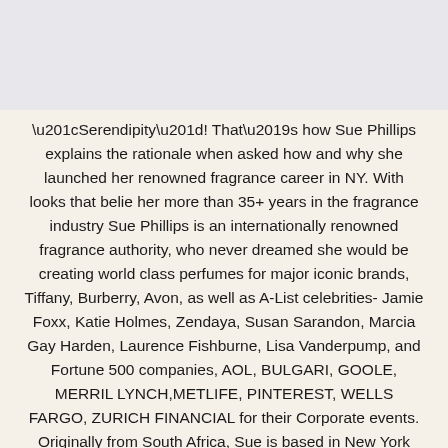“Serendipity”! That’s how Sue Phillips explains the rationale when asked how and why she launched her renowned fragrance career in NY. With looks that belie her more than 35+ years in the fragrance industry Sue Phillips is an internationally renowned fragrance authority, who never dreamed she would be creating world class perfumes for major iconic brands, Tiffany, Burberry, Avon, as well as A-List celebrities- Jamie Foxx, Katie Holmes, Zendaya, Susan Sarandon, Marcia Gay Harden, Laurence Fishburne, Lisa Vanderpump, and Fortune 500 companies, AOL, BULGARI, GOOLE, MERRIL LYNCH,METLIFE, PINTEREST, WELLS FARGO, ZURICH FINANCIAL for their Corporate events. Originally from South Africa, Sue is based in New York City where